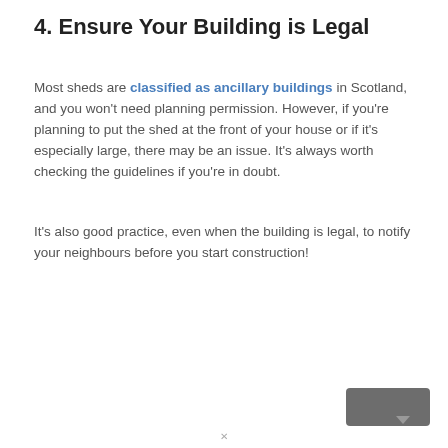4. Ensure Your Building is Legal
Most sheds are classified as ancillary buildings in Scotland, and you won't need planning permission. However, if you're planning to put the shed at the front of your house or if it's especially large, there may be an issue. It's always worth checking the guidelines if you're in doubt.
It's also good practice, even when the building is legal, to notify your neighbours before you start construction!